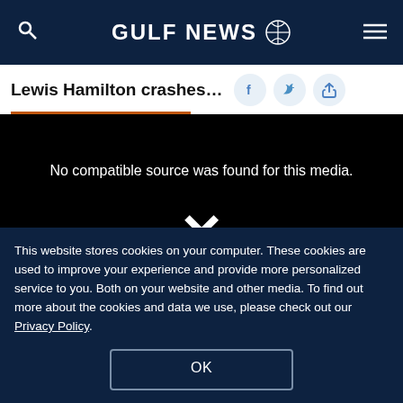GULF NEWS
Lewis Hamilton crashes out o...
[Figure (screenshot): Black video player box with error message 'No compatible source was found for this media.' and a white X icon in the center.]
This website stores cookies on your computer. These cookies are used to improve your experience and provide more personalized service to you. Both on your website and other media. To find out more about the cookies and data we use, please check out our Privacy Policy.